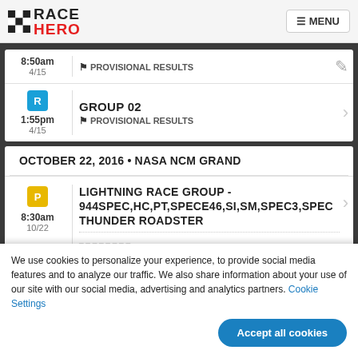RACE HERO — MENU
8:50am 4/15 — PROVISIONAL RESULTS
GROUP 02
1:55pm 4/15 — PROVISIONAL RESULTS
OCTOBER 22, 2016 • NASA NCM GRAND
LIGHTNING RACE GROUP - 944SPEC,HC,PT,SPECE46,SI,SM,SPEC3,SPEC THUNDER ROADSTER — 8:30am 10/22
We use cookies to personalize your experience, to provide social media features and to analyze our traffic. We also share information about your use of our site with our social media, advertising and analytics partners. Cookie Settings
Accept all cookies